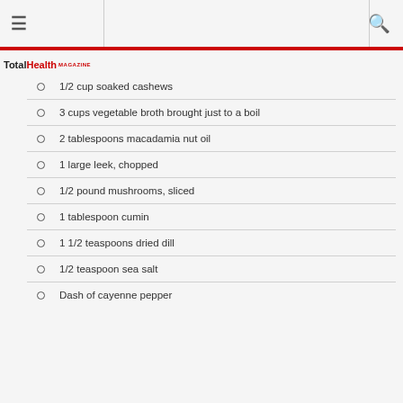≡  [TotalHealth MAGAZINE logo]  🔍
1/2 cup soaked cashews
3 cups vegetable broth brought just to a boil
2 tablespoons macadamia nut oil
1 large leek, chopped
1/2 pound mushrooms, sliced
1 tablespoon cumin
1 1/2 teaspoons dried dill
1/2 teaspoon sea salt
Dash of cayenne pepper